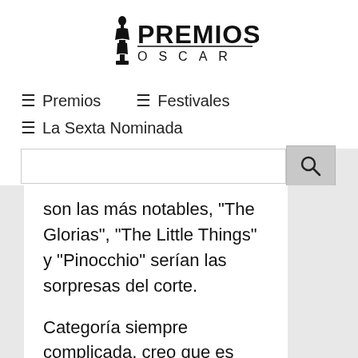[Figure (logo): Premios Oscar logo with Oscar statuette silhouette and text PREMIOS OSCAR]
≡ Premios   ≡ Festivales   ≡ La Sexta Nominada
son las más notables, "The Glorias", "The Little Things" y "Pinocchio" serían las sorpresas del corte.
Categoría siempre complicada, creo que es fácil de apostar por "Mank", "Ma Rainey's Black Bottom", "Birds of Prey"